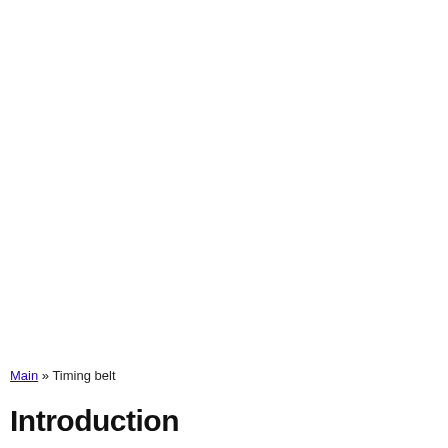Main » Timing belt
Introduction